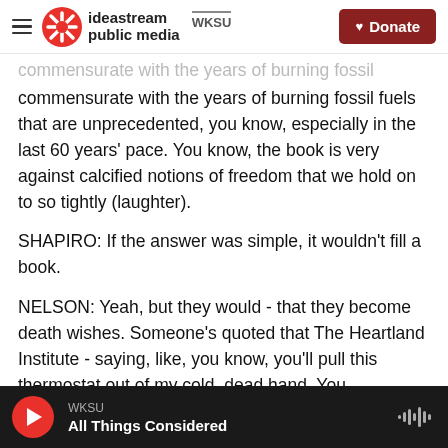ideastream public media WKSU | Donate
commensurate with the years of burning fossil fuels that are unprecedented, you know, especially in the last 60 years' pace. You know, the book is very against calcified notions of freedom that we hold on to so tightly (laughter).
SHAPIRO: If the answer was simple, it wouldn't fill a book.
NELSON: Yeah, but they would - that they become death wishes. Someone's quoted that The Heartland Institute - saying, like, you know, you'll pull this thermostat out of my cold, dead hand. You
WKSU | All Things Considered